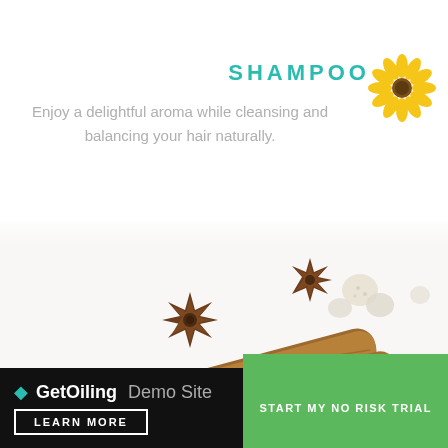SHAMPOO
Enjoy a delightful aroma while cleansing and balancing your hair naturally.
[Figure (illustration): Yellow daisy flower illustration in top right corner]
[Figure (photo): Photo of star anise, cinnamon sticks, and sugar crystals on white background]
🔥 GetOiling Demo Site
LEARN MORE
START MY NO RISK TRIAL